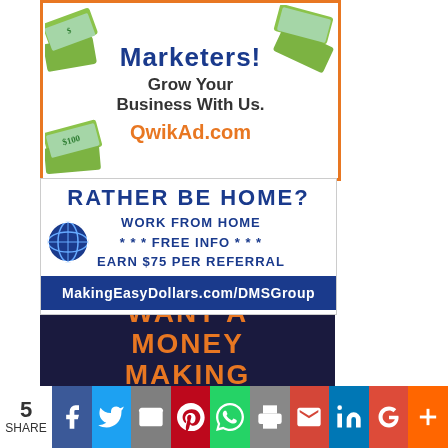[Figure (illustration): Advertisement banner for QwikAd.com with orange border, dollar bills imagery, blue bold text 'Marketers! Grow Your Business With Us.' and orange URL text 'QwikAd.com']
[Figure (illustration): Advertisement for MakingEasyDollars.com/DMSGroup - blue and white banner with text 'RATHER BE HOME? WORK FROM HOME *** FREE INFO *** EARN $75 PER REFERRAL' with globe icon and dark blue URL bar]
[Figure (illustration): Dark navy background advertisement with orange bold text 'WANT A MONEY MAKING BLOG LIKE THIS ONE']
[Figure (illustration): Social share bar with count '5 SHARE' and buttons for Facebook, Twitter, Email, Pinterest, WhatsApp, Print, Gmail, LinkedIn, Google+, More]